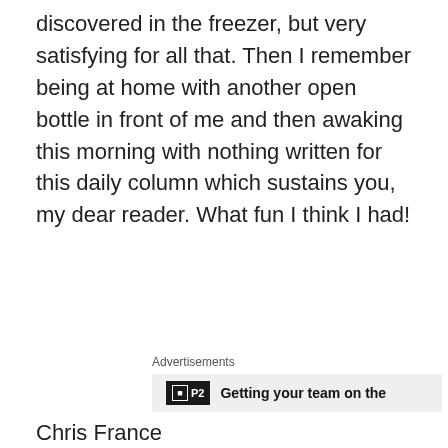discovered in the freezer, but very satisfying for all that. Then I remember being at home with another open bottle in front of me and then awaking this morning with nothing written for this daily column which sustains you, my dear reader. What fun I think I had!
[Figure (other): Advertisement banner with P2 logo and text 'Getting your team on the']
Chris France
@Valbonne_News
Privacy & Cookies: This site uses cookies. By continuing to use this website, you agree to their use. To find out more, including how to control cookies, see here: Cookie Policy
Close and accept